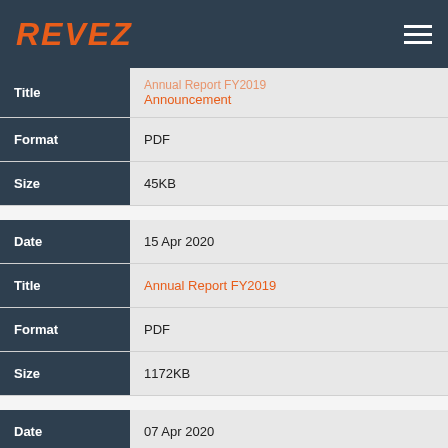REVEZ
| Field | Value |
| --- | --- |
| Title | Annual Report FY2019 Announcement |
| Format | PDF |
| Size | 45KB |
| Field | Value |
| --- | --- |
| Date | 15 Apr 2020 |
| Title | Annual Report FY2019 |
| Format | PDF |
| Size | 1172KB |
| Field | Value |
| --- | --- |
| Date | 07 Apr 2020 |